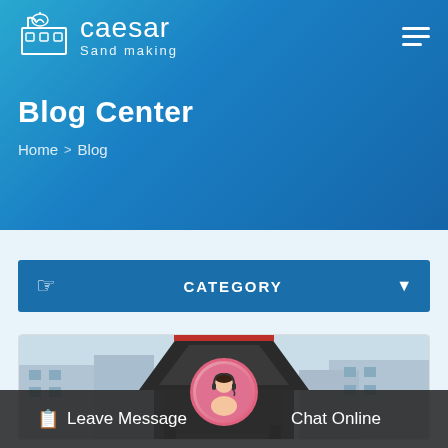caesar Sand making
Blog Center
Home > Blog
CATEGORY
[Figure (photo): Industrial sand making machine equipment in a factory setting]
Leave Message
Chat Online